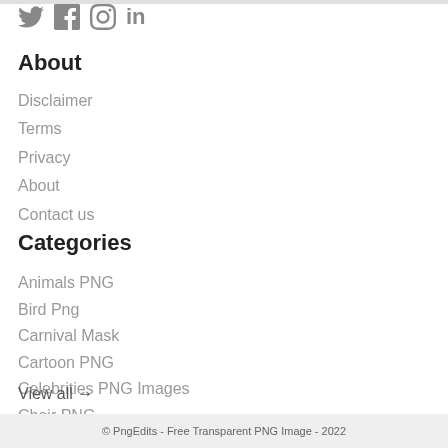[Figure (other): Social media icons: Twitter, Facebook, Instagram, LinkedIn]
About
Disclaimer
Terms
Privacy
About
Contact us
Categories
Animals PNG
Bird Png
Carnival Mask
Cartoon PNG
Celebrities PNG Images
Chair PNG
View all →
© PngEdits - Free Transparent PNG Image - 2022